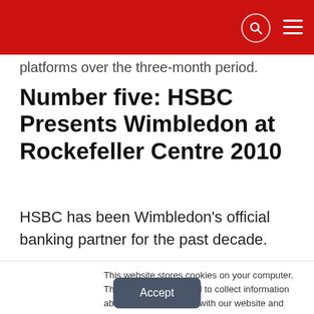platforms over the three-month period.
Number five: HSBC Presents Wimbledon at Rockefeller Centre 2010
HSBC has been Wimbledon’s official banking partner for the past decade.
The brand provides an on-site bank facility that
This website stores cookies on your computer. These cookies are used to collect information about how you interact with our website and allow us to remember you. We use this information in order to improve and customize your browsing experience and for analytics and metrics about our visitors both on this website and other media. To find out more about the cookies we use, see our Privacy Policy
Accept